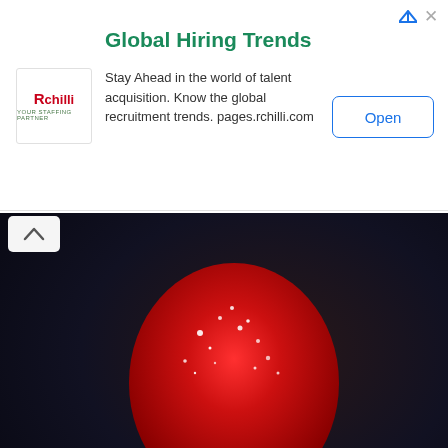[Figure (screenshot): Advertisement banner for RChilli Global Hiring Trends with logo, title, body text and Open button]
[Figure (photo): Close-up photo of a red sugary gummy candy being held between a person's fingers against a dark background]
A Chew A Day Keeps Joint Pain & Inflammation Away
Health Headlines | Sponsored
[Figure (photo): Close-up photo of a woman's face showing her nose and lips, with a man appearing to inject or treat her lips on the left side]